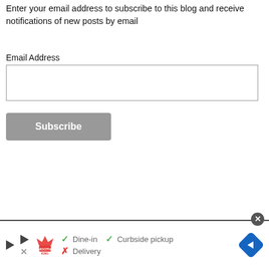Enter your email address to subscribe to this blog and receive notifications of new posts by email
Email Address
[Figure (screenshot): Email address input text field, empty, with gray border]
[Figure (screenshot): Subscribe button, gray rounded rectangle with white bold text]
[Figure (screenshot): Advertisement banner for Smoothie King showing dine-in and curbside pickup available, delivery not available, with play icon, close button, and navigation icon]